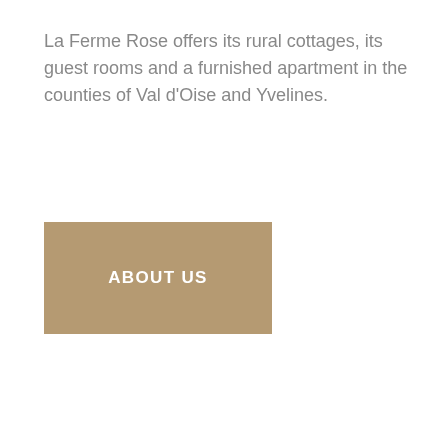La Ferme Rose offers its rural cottages, its guest rooms and a furnished apartment in the counties of Val d'Oise and Yvelines.
ABOUT US